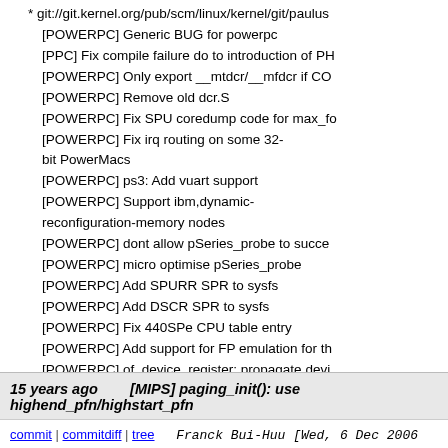* git://git.kernel.org/pub/scm/linux/kernel/git/paulus...
[POWERPC] Generic BUG for powerpc
[PPC] Fix compile failure do to introduction of PH...
[POWERPC] Only export __mtdcr/__mfdcr if CO...
[POWERPC] Remove old dcr.S
[POWERPC] Fix SPU coredump code for max_fo...
[POWERPC] Fix irq routing on some 32-bit PowerMacs
[POWERPC] ps3: Add vuart support
[POWERPC] Support ibm,dynamic-reconfiguration-memory nodes
[POWERPC] dont allow pSeries_probe to succe...
[POWERPC] micro optimise pSeries_probe
[POWERPC] Add SPURR SPR to sysfs
[POWERPC] Add DSCR SPR to sysfs
[POWERPC] Fix 440SPe CPU table entry
[POWERPC] Add support for FP emulation for th...
[POWERPC] of_device_register: propagate devi...
[POWERPC] Fix mmap of PCI resource with hac...
[POWERPC] iSeries: head_64.o needs to depen...
[POWERPC] cbe_thermal: Fix initialization of sys...
[POWERPC] Remove QE header files from lite52...
[POWERPC] of_platform_make_bus_id(): make...
...
15 years ago   [MIPS] paging_init(): use highend_pfn/highstart_pfn
commit | commitdiff | tree   Franck Bui-Huu [Wed, 6 Dec 2006